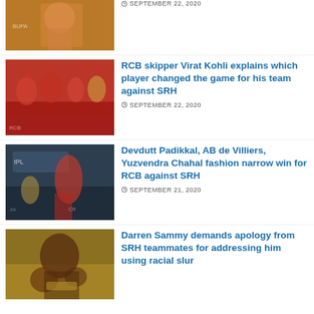[Figure (photo): Cricket player in SRH orange jersey batting]
SEPTEMBER 22, 2020
[Figure (photo): RCB players in red jerseys celebrating on field]
RCB skipper Virat Kohli explains which player changed the game for his team against SRH
SEPTEMBER 22, 2020
[Figure (photo): Cricket player in RCB jersey batting at stadium with IPL branding]
Devdutt Padikkal, AB de Villiers, Yuzvendra Chahal fashion narrow win for RCB against SRH
SEPTEMBER 21, 2020
[Figure (photo): Darren Sammy in SRH jersey gesturing with hands]
Darren Sammy demands apology from SRH teammates for addressing him using racial slur